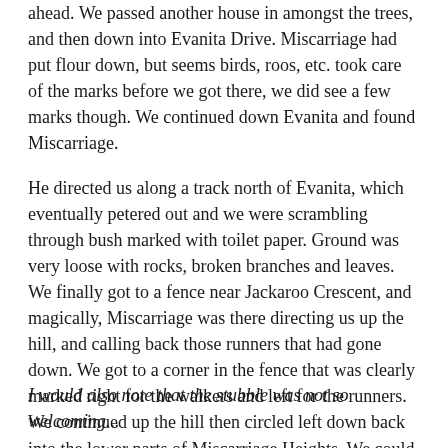ahead. We passed another house in amongst the trees, and then down into Evanita Drive. Miscarriage had put flour down, but seems birds, roos, etc. took care of the marks before we got there, we did see a few marks though. We continued down Evanita and found Miscarriage.
He directed us along a track north of Evanita, which eventually petered out and we were scrambling through bush marked with toilet paper. Ground was very loose with rocks, broken branches and leaves. We finally got to a fence near Jackaroo Crescent, and magically, Miscarriage was there directing us up the hill, and calling back those runners that had gone down. We got to a corner in the fence that was clearly marked right for the walkers and left for the runners. We continued up the hill then circled left down back into the lower parts of Miscarriage Heights. We could now see the lights from the trailer and got back there after about an hour's walk. That first beer was so welcome!
I would also note that the stubble was not so welcoming...